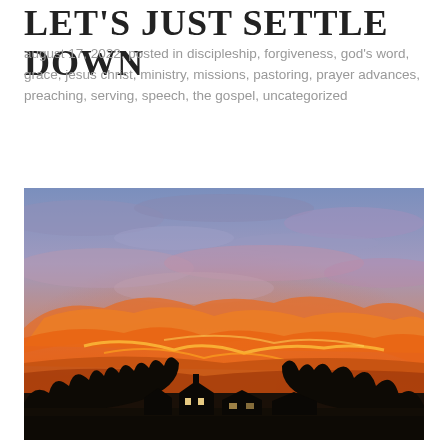LET'S JUST SETTLE DOWN
august 17, 2022, posted in discipleship, forgiveness, god's word, grace, jesus christ, ministry, missions, pastoring, prayer advances, preaching, serving, speech, the gospel, uncategorized
[Figure (photo): Sunset photo showing a dramatic sky with orange and pink clouds over a silhouetted treeline and small church/farm buildings in the foreground]